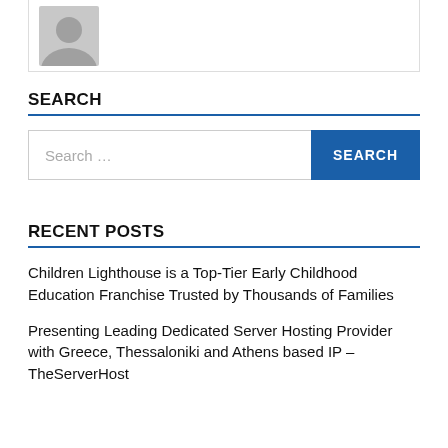[Figure (photo): Grey avatar/profile placeholder image with silhouette of a person, inside a bordered card]
SEARCH
Search ...
RECENT POSTS
Children Lighthouse is a Top-Tier Early Childhood Education Franchise Trusted by Thousands of Families
Presenting Leading Dedicated Server Hosting Provider with Greece, Thessaloniki and Athens based IP – TheServerHost